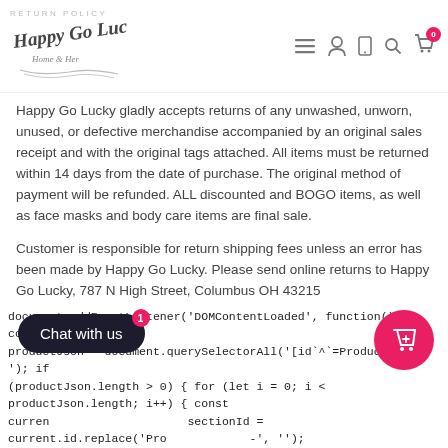RETURN POLICY | Happy Go Lucky Home & Her [logo] navigation icons
Happy Go Lucky gladly accepts returns of any unwashed, unworn, unused, or defective merchandise accompanied by an original sales receipt and with the original tags attached. All items must be returned within 14 days from the date of purchase. The original method of payment will be refunded. ALL discounted and BOGO items, as well as face masks and body care items are final sale.
Customer is responsible for return shipping fees unless an error has been made by Happy Go Lucky. Please send online returns to Happy Go Lucky, 787 N High Street, Columbus OH 43215
document.addEventListener('DOMContentLoaded', function() { const productJson = document.querySelectorAll('[id`^`=ProductJson-'); if (productJson.length > 0) { for (let i = 0; i < productJson.length; i++) { const curren sectionId = current.id.replace('Pro -', ''); cons querySelector('[data-section-id=' + se }); const p se(current.text); if (product.options.length ) { const unavailableVariants = []; for (let j = 0; j < product.variants.length; j++) {